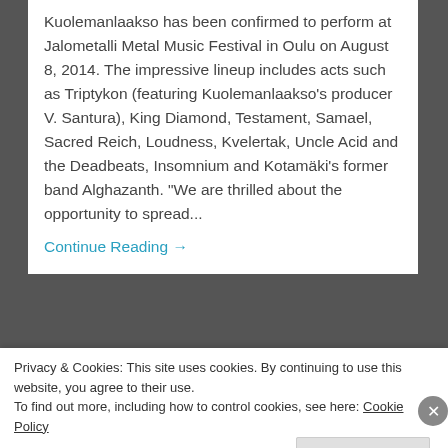Kuolemanlaakso has been confirmed to perform at Jalometalli Metal Music Festival in Oulu on August 8, 2014. The impressive lineup includes acts such as Triptykon (featuring Kuolemanlaakso's producer V. Santura), King Diamond, Testament, Samael, Sacred Reich, Loudness, Kvelertak, Uncle Acid and the Deadbeats, Insomnium and Kotamäki's former band Alghazanth. "We are thrilled about the opportunity to spread...
Continue Reading →
May 31, 2014
Privacy & Cookies: This site uses cookies. By continuing to use this website, you agree to their use.
To find out more, including how to control cookies, see here: Cookie Policy
Close and accept
Advertisements